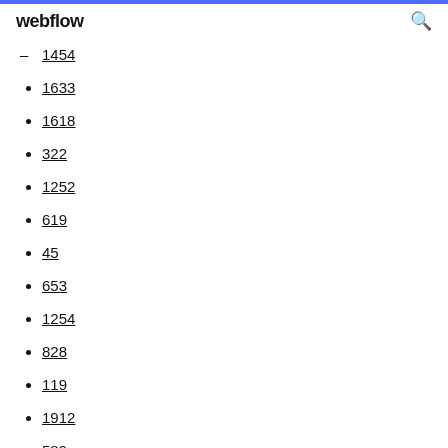webflow
1454
1633
1618
322
1252
619
45
653
1254
828
119
1912
589